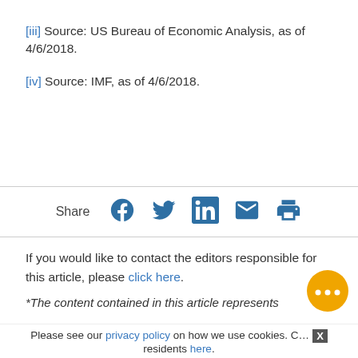[iii] Source: US Bureau of Economic Analysis, as of 4/6/2018.
[iv] Source: IMF, as of 4/6/2018.
Share [Facebook] [Twitter] [LinkedIn] [Email] [Print]
If you would like to contact the editors responsible for this article, please click here.
*The content contained in this article represents
Please see our privacy policy on how we use cookies. C... residents here.